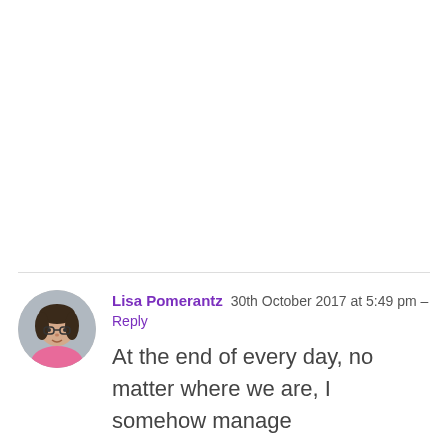[Figure (photo): Circular avatar photo of Lisa Pomerantz, a woman wearing glasses and a pink turtleneck]
Lisa Pomerantz 30th October 2017 at 5:49 pm - Reply

At the end of every day, no matter where we are, I somehow manage